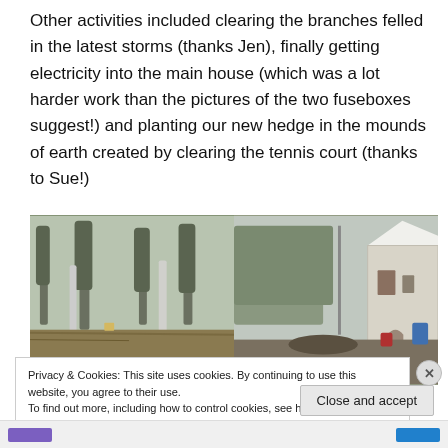Other activities included clearing the branches felled in the latest storms (thanks Jen), finally getting electricity into the main house (which was a lot harder work than the pictures of the two fuseboxes suggest!) and planting our new hedge in the mounds of earth created by clearing the tennis court (thanks to Sue!)
[Figure (photo): Two outdoor photos side by side: left shows bare winter trees with dry grass/scrubland, right shows a rural farmhouse building with stone wall, muddy ground and piles of debris]
Privacy & Cookies: This site uses cookies. By continuing to use this website, you agree to their use.
To find out more, including how to control cookies, see here: Cookie Policy
Close and accept